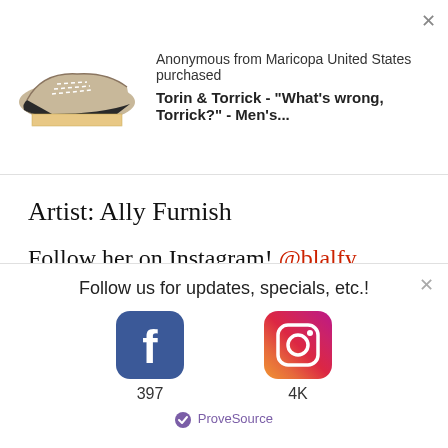[Figure (photo): Notification popup showing a pair of beige and black low-top sneakers with text 'Anonymous from Maricopa United States purchased Torin & Torrick - "What's wrong, Torrick?" - Men's...' and a close X button]
Artist: Ally Furnish
Follow her on Instagram! @blalfy
[Figure (illustration): Green circular badge with a white star icon]
*****
[Figure (infographic): Bottom popup: Follow us for updates, specials, etc.! with Facebook icon (397 followers) and Instagram icon (4K followers) and ProveSource branding]